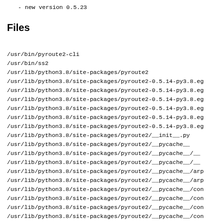- new version 0.5.23
Files
/usr/bin/pyroute2-cli
/usr/bin/ss2
/usr/lib/python3.8/site-packages/pyroute2
/usr/lib/python3.8/site-packages/pyroute2-0.5.14-py3.8.eg
/usr/lib/python3.8/site-packages/pyroute2-0.5.14-py3.8.eg
/usr/lib/python3.8/site-packages/pyroute2-0.5.14-py3.8.eg
/usr/lib/python3.8/site-packages/pyroute2-0.5.14-py3.8.eg
/usr/lib/python3.8/site-packages/pyroute2-0.5.14-py3.8.eg
/usr/lib/python3.8/site-packages/pyroute2-0.5.14-py3.8.eg
/usr/lib/python3.8/site-packages/pyroute2/__init__.py
/usr/lib/python3.8/site-packages/pyroute2/__pycache__
/usr/lib/python3.8/site-packages/pyroute2/__pycache__/__
/usr/lib/python3.8/site-packages/pyroute2/__pycache__/__
/usr/lib/python3.8/site-packages/pyroute2/__pycache__/arp
/usr/lib/python3.8/site-packages/pyroute2/__pycache__/arp
/usr/lib/python3.8/site-packages/pyroute2/__pycache__/con
/usr/lib/python3.8/site-packages/pyroute2/__pycache__/con
/usr/lib/python3.8/site-packages/pyroute2/__pycache__/con
/usr/lib/python3.8/site-packages/pyroute2/__pycache__/con
/usr/lib/python3.8/site-packages/pyroute2/__pycache__/dev
/usr/lib/python3.8/site-packages/pyroute2/__pycache__/dev
/usr/lib/python3.8/site-packages/pyroute2/__pycache__/ips
/usr/lib/python3.8/site-packages/pyroute2/__pycache__/ips
/usr/lib/python3.8/site-packages/pyroute2/__pycache__/iwu